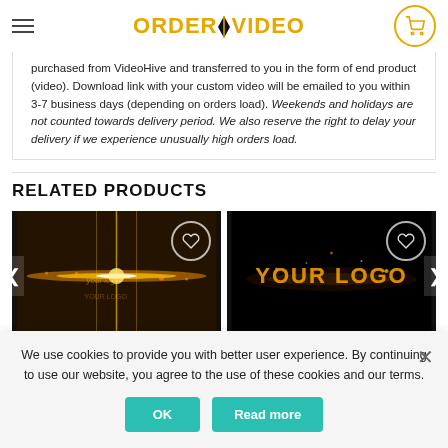ORDER YOUR VIDEO
purchased from VideoHive and transferred to you in the form of end product (video). Download link with your custom video will be emailed to you within 3-7 business days (depending on orders load). Weekends and holidays are not counted towards delivery period. We also reserve the right to delay your delivery if we experience unusually high orders load.
RELATED PRODUCTS
[Figure (photo): Dark video thumbnail showing golden light streaks and sparks on a dark brown/black background, with a heart/wishlist button in top right corner]
[Figure (photo): Dark video thumbnail showing 'YOUR LOGO' text in fiery golden glowing letters on a black background, with a heart/wishlist button in top right corner]
We use cookies to provide you with better user experience. By continuing to use our website, you agree to the use of these cookies and our terms.